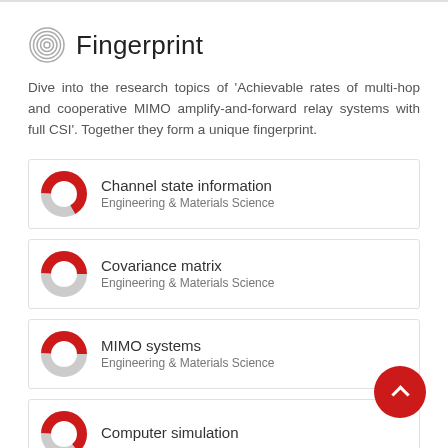Fingerprint
Dive into the research topics of 'Achievable rates of multi-hop and cooperative MIMO amplify-and-forward relay systems with full CSI'. Together they form a unique fingerprint.
Channel state information
Engineering & Materials Science
Covariance matrix
Engineering & Materials Science
MIMO systems
Engineering & Materials Science
Computer simulation